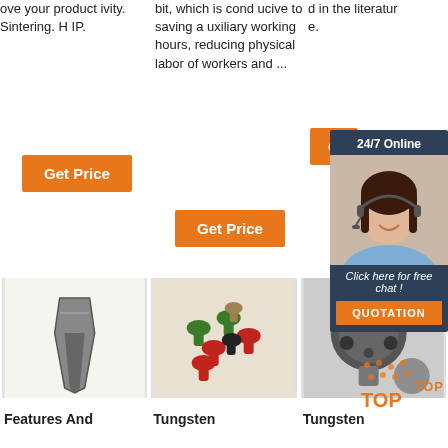ove your product ivity. Sintering. H IP.
bit, which is cond ucive to saving a uxiliary working hours, reducing physical labor of workers and ...
d in the literatur e.
[Figure (other): Orange Get Price button, column 1]
[Figure (other): Partially visible orange G button, column 3]
[Figure (other): Orange Get Price button, column 2]
[Figure (photo): Chat support popup with 24/7 Online label, woman wearing headset, Click here for free chat text, and QUOTATION button]
[Figure (photo): Tungsten carbide tooth/chisel product photo on white background]
[Figure (photo): Tungsten carbide nozzle parts in green, red and black colors]
[Figure (photo): Tungsten carbide drill bit head close-up with TOP badge overlay]
Features And
Tungsten
Tungsten